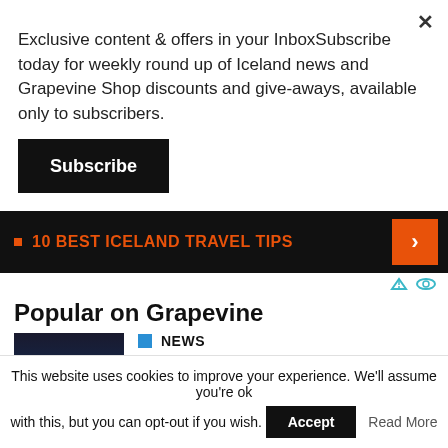Exclusive content & offers in your InboxSubscribe today for weekly round up of Iceland news and Grapevine Shop discounts and give-aways, available only to subscribers.
Subscribe
[Figure (infographic): Black banner ad with orange text: 10 BEST ICELAND TRAVEL TIPS with an orange arrow button on the right]
Popular on Grapevine
NEWS
Daily Volcano Briefing: Eruption Has Subsided To A Simmer
NEWS
This website uses cookies to improve your experience. We'll assume you're ok with this, but you can opt-out if you wish.